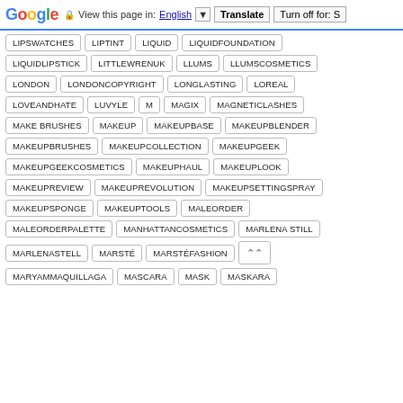Google — View this page in: English [Translate] Turn off for: S
LIPSWATCHES
LIPTINT
LIQUID
LIQUIDFOUNDATION
LIQUIDLIPSTICK
LITTLEWRENUK
LLUMS
LLUMSCOSMETICS
LONDON
LONDONCOPYRIGHT
LONGLASTING
LOREAL
LOVEANDHATE
LUVYLE
M
MAGIX
MAGNETICLASHES
MAKE BRUSHES
MAKEUP
MAKEUPBASE
MAKEUPBLENDER
MAKEUPBRUSHES
MAKEUPCOLLECTION
MAKEUPGEEK
MAKEUPGEEKCOSMETICS
MAKEUPHAUL
MAKEUPLOOK
MAKEUPREVIEW
MAKEUPREVOLUTION
MAKEUPSETTINGSPRAY
MAKEUPSPONGE
MAKEUPTOOLS
MALEORDER
MALEORDERPALETTE
MANHATTANCOSMETICS
MARLENA STILL
MARLENASTELL
MARSTÉ
MARSTÉFASHION
MARYAMMAQUILLAGA
MASCARA
MASK
MASKARA